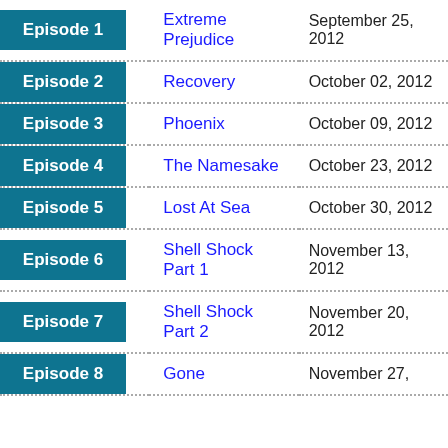| Episode | Title | Air Date |
| --- | --- | --- |
| Episode 1 | Extreme Prejudice | September 25, 2012 |
| Episode 2 | Recovery | October 02, 2012 |
| Episode 3 | Phoenix | October 09, 2012 |
| Episode 4 | The Namesake | October 23, 2012 |
| Episode 5 | Lost At Sea | October 30, 2012 |
| Episode 6 | Shell Shock Part 1 | November 13, 2012 |
| Episode 7 | Shell Shock Part 2 | November 20, 2012 |
| Episode 8 | Gone | November 27, ... |